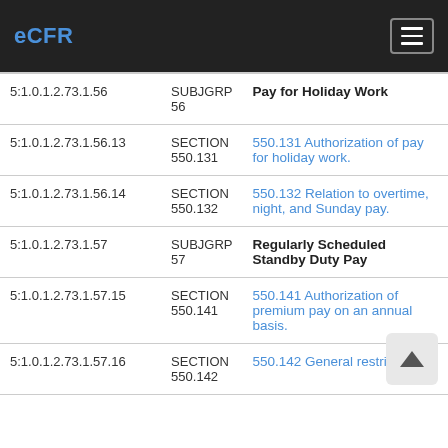eCFR
|  |  |  |
| --- | --- | --- |
| 5:1.0.1.2.73.1.56 | SUBJGRP 56 | Pay for Holiday Work |
| 5:1.0.1.2.73.1.56.13 | SECTION 550.131 | 550.131 Authorization of pay for holiday work. |
| 5:1.0.1.2.73.1.56.14 | SECTION 550.132 | 550.132 Relation to overtime, night, and Sunday pay. |
| 5:1.0.1.2.73.1.57 | SUBJGRP 57 | Regularly Scheduled Standby Duty Pay |
| 5:1.0.1.2.73.1.57.15 | SECTION 550.141 | 550.141 Authorization of premium pay on an annual basis. |
| 5:1.0.1.2.73.1.57.16 | SECTION 550.142 | 550.142 General restrictions. |